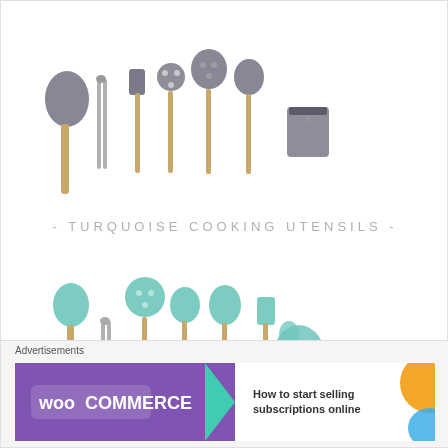[Figure (photo): Set of gray/dark silicone and wood handle cooking utensils including spoon, tongs, spatula, pasta server, slotted spoon, ladle, skimmer, and a utensil holder cup, arranged on white background]
- TURQUOISE COOKING UTENSILS -
[Figure (photo): Set of turquoise/teal silicone and wood handle cooking utensils including spoon, tongs, spatula, pasta server, slotted spoon, ladle, and a spoon rest, arranged on white background]
Advertisements
[Figure (other): WooCommerce advertisement banner with purple background on left showing WooCommerce logo with teal arrow, and white right section with text: How to start selling subscriptions online, with orange decorative shape in corner]